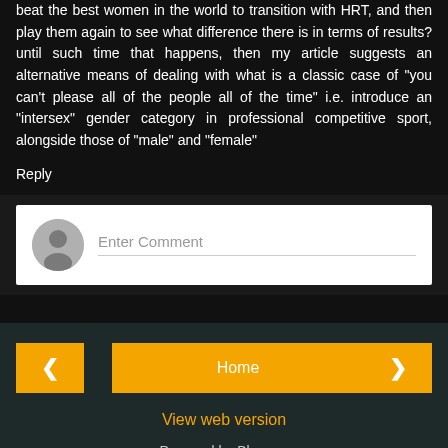beat the best women in the world to transition with HRT, and then play them again to see what difference there is in terms of results? until such time that happens, then my article suggests an alternative means of dealing with what is a classic case of "you can't please all of the people all of the time" i.e. introduce an "intersex" gender category in professional competitive sport, alongside those of "male" and "female"
Reply
Enter Comment
Home
View web version
Powered by Blogger.